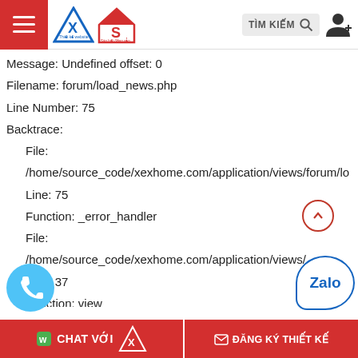Navigation header with hamburger menu, X and S logos, TÌM KIẾM search bar, and user icon
Message: Undefined offset: 0
Filename: forum/load_news.php
Line Number: 75
Backtrace:
File:
/home/source_code/xexhome.com/application/views/forum/lo
Line: 75
Function: _error_handler
File:
/home/source_code/xexhome.com/application/views/c
Line: 37
Function: view
File:
/home/source_code/xexhome.com/application/views/forum/te
CHAT VỚI | ĐĂNG KÝ THIẾT KẾ